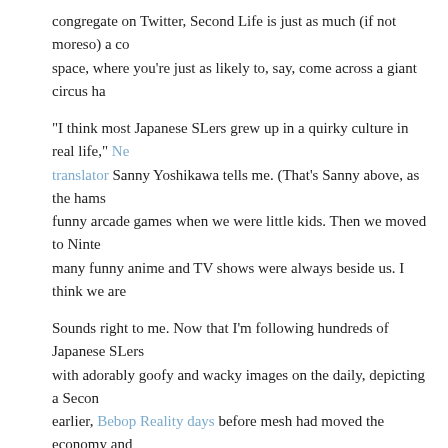congregate on Twitter, Second Life is just as much (if not moreso) a community space, where you're just as likely to, say, come across a giant circus ha
"I think most Japanese SLers grew up in a quirky culture in real life," [link: Nettranslator] Sanny Yoshikawa tells me. (That's Sanny above, as the hams funny arcade games when we were little kids. Then we moved to Ninte many funny anime and TV shows were always beside us. I think we are
Sounds right to me. Now that I'm following hundreds of Japanese SLers with adorably goofy and wacky images on the daily, depicting a Second earlier, [link: Bebop Reality days] before mesh had moved the economy and fashion.
More on that topic another day, but for now, here's a glimpse of SL Japa Sanny when necessary. She helps explain, for example, why a buff na weaponry and a teddy bear helmet is wearing a salad on his crotch:
Continue reading "I Can't Stop Looking at Hilariously Quirky Posts from Community on Twitter" »
Posted on Friday, August 19, 2022 at 12:20 PM in Social Structures, Social Up (2)
Tweet  Pinit